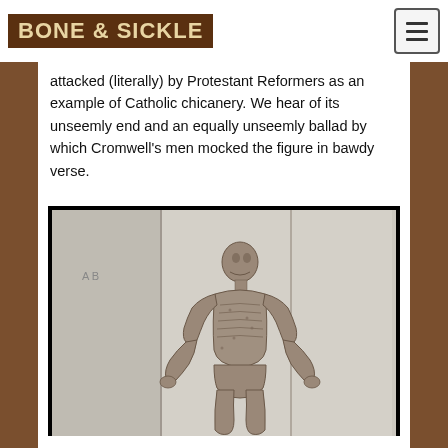BONE & SICKLE
attacked (literally) by Protestant Reformers as an example of Catholic chicanery. We hear of its unseemly end and an equally unseemly ballad by which Cromwell's men mocked the figure in bawdy verse.
[Figure (photo): Black and white photograph of a skeletal or mummified human figure standing upright, with arms slightly extended from the body, against a light background. The figure appears emaciated with visible anatomical detail.]